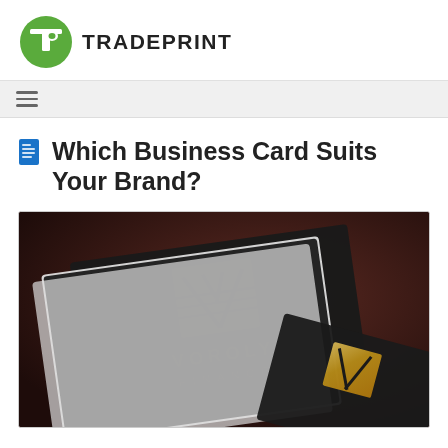TRADEPRINT
Which Business Card Suits Your Brand?
[Figure (photo): Dark luxury business cards for 'VOROLY FINANCE' with gold foil logo showing a geometric V shape, stacked against a dark brown background]